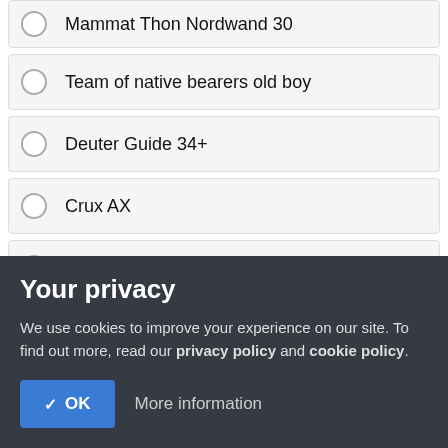Mammat Thon Nordwand 30
Team of native bearers old boy
Deuter Guide 34+
Crux AX
Karrimor Totem
Oh, pressed the wrong button
Your privacy
We use cookies to improve your experience on our site. To find out more, read our privacy policy and cookie policy.
✓ OK   More information